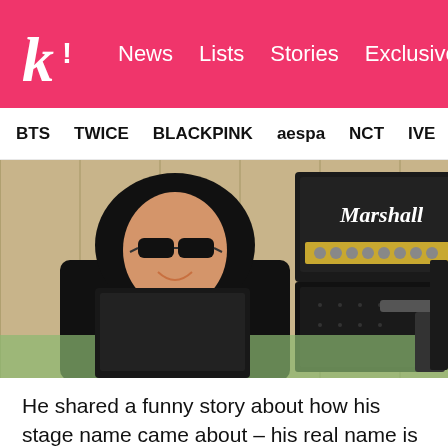koreaboo — News  Lists  Stories  Exclusives
BTS  TWICE  BLACKPINK  aespa  NCT  IVE  SHIN…
[Figure (photo): A person wearing a black hoodie and dark sunglasses sitting at a radio studio desk with a microphone and a Marshall amplifier in the background.]
He shared a funny story about how his stage name came about – his real name is Gu Changmo, but he was forced to promote without his last name due to the fact that there was an existing singer called Gu Changmo, as well as a